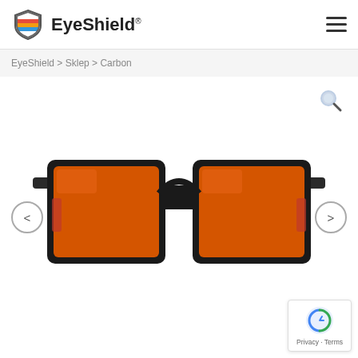EyeShield®
EyeShield > Sklep > Carbon
[Figure (photo): A pair of glasses with a black rectangular frame and orange-tinted lenses, shown from the front on a white background. Navigation arrows visible on left and right sides.]